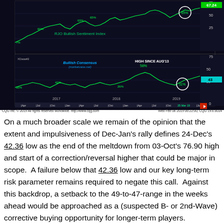[Figure (continuous-plot): CQG chart showing RJO Bullish Sentiment Index (top panel, green line, ranging roughly 35%-85% with annotations 7%, 60%, 63%, 65%, 65% circled, scale 0-75) and Bullish Consensus marketvane.net (bottom panel, green line, with annotations 35%, 42%, 26%, 31% circled, 58% HIGH SINCE AUG'13, scale 0-75, current value 43 highlighted). Timeline spans 2017-2019. Date labels Apr, Jul, Oct, Jan across both panels.]
CQG Inc. © 2019 All rights reserved worldwide. http://www.cqg.com    Wed Feb 06 2019 06:22:00, CQG 19.6.8034
On a much broader scale we remain of the opinion that the extent and impulsiveness of Dec-Jan's rally defines 24-Dec's 42.36 low as the end of the meltdown from 03-Oct's 76.90 high and start of a correction/reversal higher that could be major in scope.  A failure below that 42.36 low and our key long-term risk parameter remains required to negate this call.  Against this backdrop, a setback to the 49-to-47-range in the weeks ahead would be approached as a (suspected B- or 2nd-Wave) corrective buying opportunity for longer-term players.